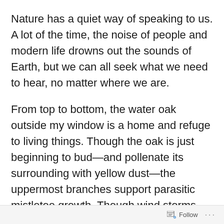Nature has a quiet way of speaking to us. A lot of the time, the noise of people and modern life drowns out the sounds of Earth, but we can all seek what we need to hear, no matter where we are.
From top to bottom, the water oak outside my window is a home and refuge to living things. Though the oak is just beginning to bud—and pollenate its surrounding with yellow dust—the uppermost branches support parasitic mistletoe growth. Though wind storms tear the plants from their host, more are there as a
Follow ···